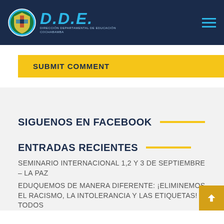D.D.E. Dirección Departamental de Educación Cochabamba
SUBMIT COMMENT
SIGUENOS EN FACEBOOK
ENTRADAS RECIENTES
SEMINARIO INTERNACIONAL 1,2 Y 3 DE SEPTIEMBRE – LA PAZ
EDUQUEMOS DE MANERA DIFERENTE: ¡ELIMINEMOS EL RACISMO, LA INTOLERANCIA Y LAS ETIQUETAS! TODOS